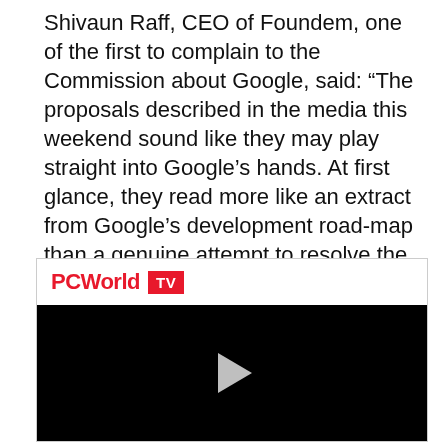Shivaun Raff, CEO of Foundem, one of the first to complain to the Commission about Google, said: “The proposals described in the media this weekend sound like they may play straight into Google’s hands. At first glance, they read more like an extract from Google’s development road-map than a genuine attempt to resolve the Commission’s concerns regarding search manipulation.”
[Figure (screenshot): PCWorld TV video player embed with a black video area and a play button in the center]